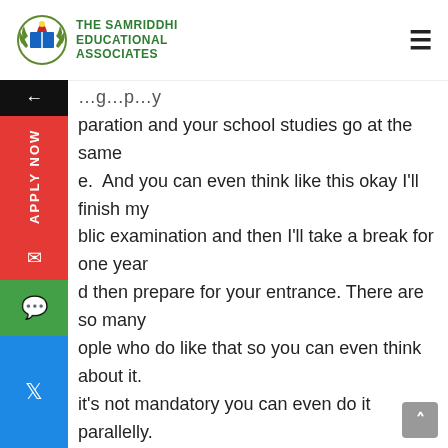THE SAMRIDDHI EDUCATIONAL ASSOCIATES
paration and your school studies go at the same e. And you can even think like this okay I'll finish my blic examination and then I'll take a break for one year d then prepare for your entrance. There are so many ople who do like that so you can even think about it. it's not mandatory you can even do it parallelly.
ompetition
I also want you to understand about the competition, before you step in. Every year almost 15 lakh children write this entrance examination. Do you know the number of seats for MBBS in India. It is somewhere